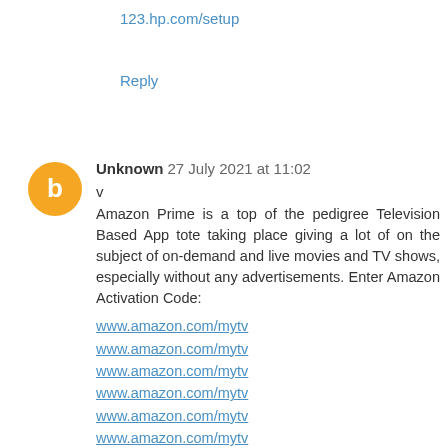123.hp.com/setup
Reply
Unknown 27 July 2021 at 11:02
v
Amazon Prime is a top of the pedigree Television Based App tote taking place giving a lot of on the subject of on-demand and live movies and TV shows, especially without any advertisements. Enter Amazon Activation Code:
www.amazon.com/mytv
www.amazon.com/mytv
www.amazon.com/mytv
www.amazon.com/mytv
www.amazon.com/mytv
www.amazon.com/mytv
foxnew.com/connect
hbomax.com/tvsignin
www.primevideo.com/mytv
tubi.tv/activate
www.hulu.com/activate